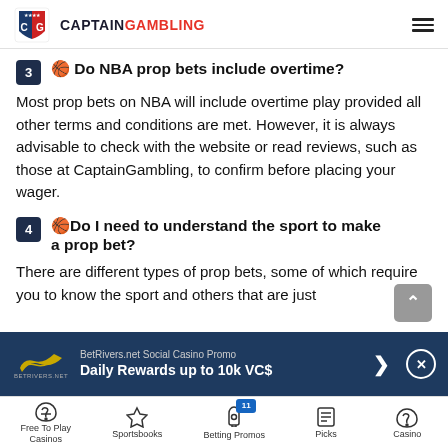CaptainGambling
3 🏀 Do NBA prop bets include overtime?
Most prop bets on NBA will include overtime play provided all other terms and conditions are met. However, it is always advisable to check with the website or read reviews, such as those at CaptainGambling, to confirm before placing your wager.
4 🏀 Do I need to understand the sport to make a prop bet?
There are different types of prop bets, some of which require you to know the sport and others that are just
[Figure (infographic): BetRivers.net Social Casino Promo banner ad: Daily Rewards up to 10k VC$]
Free To Play Casinos | Sportsbooks | Betting Promos 11 | Picks | Casino